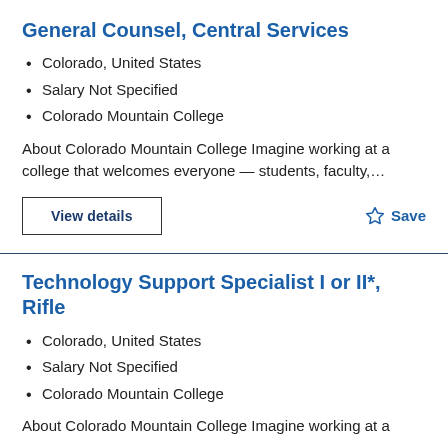General Counsel, Central Services
Colorado, United States
Salary Not Specified
Colorado Mountain College
About Colorado Mountain College Imagine working at a college that welcomes everyone — students, faculty,...
View details
Save
Technology Support Specialist I or II*, Rifle
Colorado, United States
Salary Not Specified
Colorado Mountain College
About Colorado Mountain College Imagine working at a